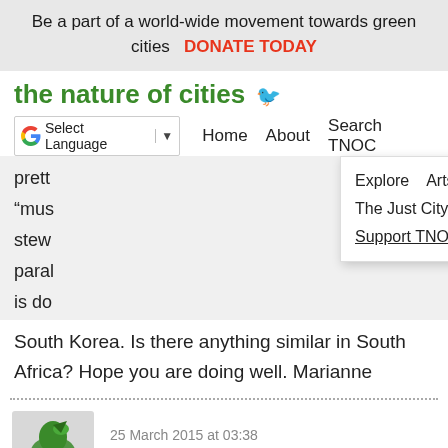Be a part of a world-wide movement towards green cities   DONATE TODAY
the nature of cities
Select Language | ▼   Home   About   Search TNOC
pretty
"must
stew
parall
is do
Explore   Arts   Events
The Just City Essays   Projects
Support TNOC
South Korea. Is there anything similar in South Africa? Hope you are doing well. Marianne
25 March 2015 at 03:38